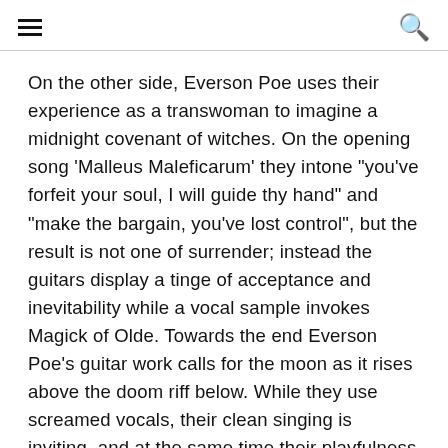[hamburger menu] [search icon]
On the other side, Everson Poe uses their experience as a transwoman to imagine a midnight covenant of witches. On the opening song 'Malleus Maleficarum' they intone "you've forfeit your soul, I will guide thy hand" and "make the bargain, you've lost control", but the result is not one of surrender; instead the guitars display a tinge of acceptance and inevitability while a vocal sample invokes Magick of Olde. Towards the end Everson Poe's guitar work calls for the moon as it rises above the doom riff below. While they use screamed vocals, their clean singing is inviting, and at the same time their playfulness with the guitar further depicts the sorcery that thematizes this half of the record. Before 'Becoming Part II', we're treated to another invocation: "I raise the chalice of ecstasy and partake in the elixir of life". Where